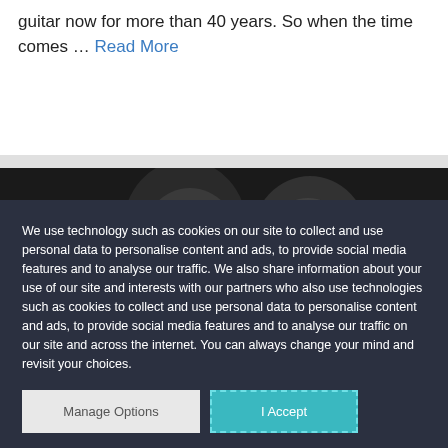guitar now for more than 40 years. So when the time comes … Read More
[Figure (photo): Black and white photograph of two young people looking downward, close together, appears to be a candid or jazz-related photo]
We use technology such as cookies on our site to collect and use personal data to personalise content and ads, to provide social media features and to analyse our traffic. We also share information about your use of our site and interests with our partners who also use technologies such as cookies to collect and use personal data to personalise content and ads, to provide social media features and to analyse our traffic on our site and across the internet. You can always change your mind and revisit your choices.